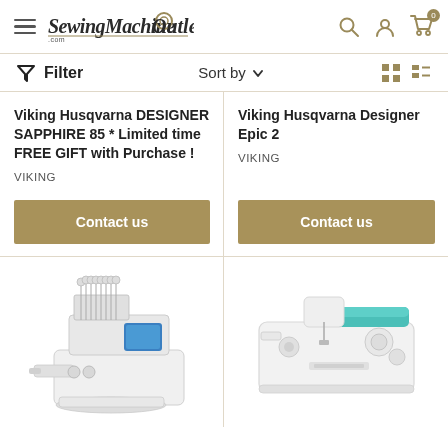SewingMachineOutlet.com
Filter | Sort by | Grid/List view icons
Viking Husqvarna DESIGNER SAPPHIRE 85 * Limited time FREE GIFT with Purchase !
VIKING
Contact us
Viking Husqvarna Designer Epic 2
VIKING
Contact us
[Figure (photo): Multi-needle embroidery sewing machine, white with blue digital display]
[Figure (photo): White sewing machine with teal/turquoise accent on top]